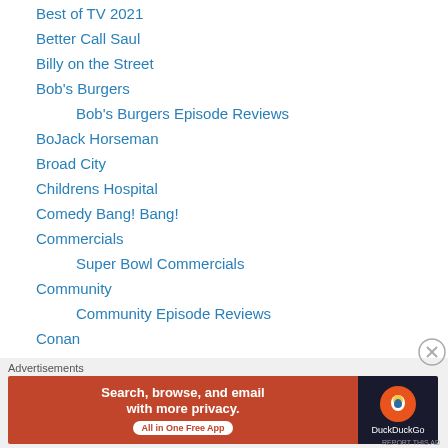Best of TV 2021
Better Call Saul
Billy on the Street
Bob's Burgers
Bob's Burgers Episode Reviews
BoJack Horseman
Broad City
Childrens Hospital
Comedy Bang! Bang!
Commercials
Super Bowl Commercials
Community
Community Episode Reviews
Conan
Crazy Ex-Girlfriend
Desperate Housewives
Advertisements
[Figure (other): DuckDuckGo advertisement banner: Search, browse, and email with more privacy. All in One Free App.]